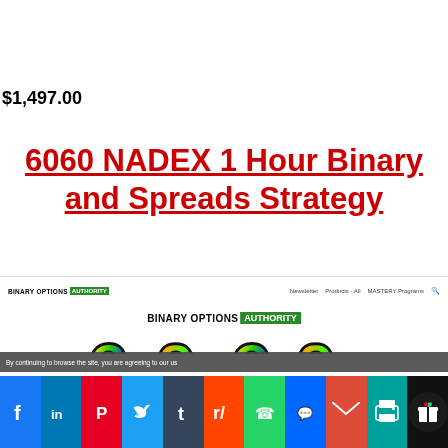$1,497.00
6060 NADEX 1 Hour Binary and Spreads Strategy
[Figure (screenshot): Screenshot of Binary Options Authority website navigation bar with logo and links: Newsletter, Products - All, MASTERY Programs, and search icon]
[Figure (screenshot): Screenshot of Binary Options Authority website with large colorful '6060' logo graphic and site header]
By continuing to browse the site, you are agreeing to our use
[Figure (infographic): Social media share bar with Facebook, LinkedIn, Pinterest, Twitter, Tumblr, Reddit, WhatsApp, Messenger, Email, Print icons and a gift button]